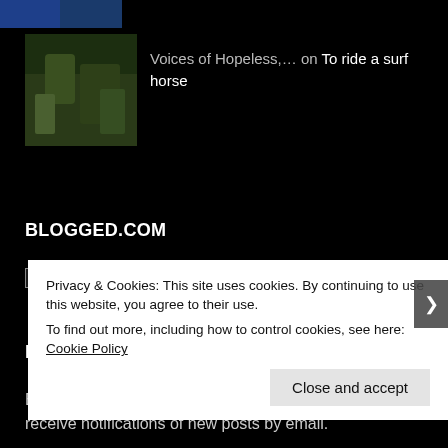[Figure (photo): Small thumbnail image at top, dark blue/colored strip]
[Figure (photo): Small square thumbnail showing green foliage/bush scene]
Voices of Hopeless,… on To ride a surf horse
BLOGGED.COM
Writing Blog Directory
EMAIL SUBSCRIPTION
Enter your email address to subscribe to this blog and receive notifications of new posts by email.
Privacy & Cookies: This site uses cookies. By continuing to use this website, you agree to their use.
To find out more, including how to control cookies, see here: Cookie Policy
Close and accept